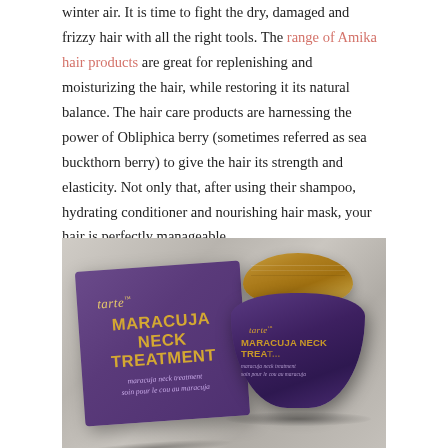winter air. It is time to fight the dry, damaged and frizzy hair with all the right tools. The range of Amika hair products are great for replenishing and moisturizing the hair, while restoring it its natural balance. The hair care products are harnessing the power of Obliphica berry (sometimes referred as sea buckthorn berry) to give the hair its strength and elasticity. Not only that, after using their shampoo, hydrating conditioner and nourishing hair mask, your hair is perfectly manageable.
[Figure (photo): Photo of Tarte Maracuja Neck Treatment product: a purple box and a purple glass jar with a wood/gold lid, on a marble/stone surface]